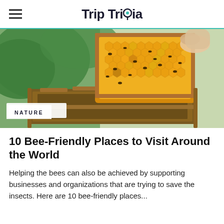Trip Trivia
[Figure (photo): Beekeeper holding a honeycomb frame covered with bees over a wooden hive box, with green foliage in the background. A white 'NATURE' badge overlay appears at the bottom left.]
10 Bee-Friendly Places to Visit Around the World
Helping the bees can also be achieved by supporting businesses and organizations that are trying to save the insects. Here are 10 bee-friendly places...